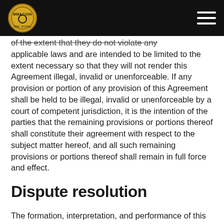MMACOIN logo and navigation
of the extent that they do not violate any applicable laws and are intended to be limited to the extent necessary so that they will not render this Agreement illegal, invalid or unenforceable. If any provision or portion of any provision of this Agreement shall be held to be illegal, invalid or unenforceable by a court of competent jurisdiction, it is the intention of the parties that the remaining provisions or portions thereof shall constitute their agreement with respect to the subject matter hereof, and all such remaining provisions or portions thereof shall remain in full force and effect.
Dispute resolution
The formation, interpretation, and performance of this Agreement and any disputes arising out of it shall be